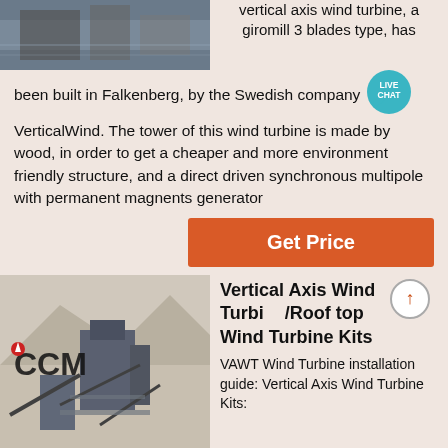[Figure (photo): Aerial/industrial site photo at top of page]
vertical axis wind turbine, a giromill 3 blades type, has been built in Falkenberg, by the Swedish company VerticalWind. The tower of this wind turbine is made by wood, in order to get a cheaper and more environment friendly structure, and a direct driven synchronous multipole with permanent magnents generator
[Figure (other): Live Chat badge/button]
Get Price
[Figure (photo): Industrial quarry/mining equipment photo with CCM logo]
Vertical Axis Wind Turbine /Roof top Wind Turbine Kits
VAWT Wind Turbine installation guide: Vertical Axis Wind Turbine Kits: